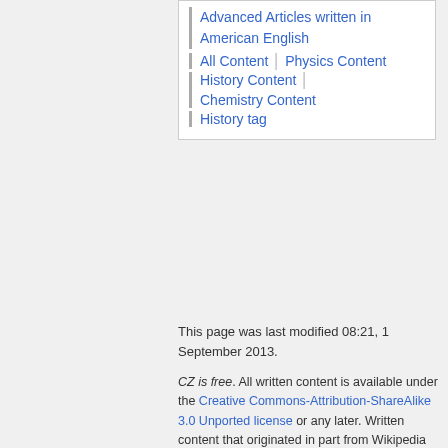Advanced Articles written in American English
All Content | Physics Content
History Content | Chemistry Content
History tag
This page was last modified 08:21, 1 September 2013.
CZ is free. All written content is available under the Creative Commons-Attribution-ShareAlike 3.0 Unported license or any later. Written content that originated in part from Wikipedia is also available under Creative Commons Attribution-NonCommercial-ShareAlike. Dedicated server hosting by Steadfast Networks
Help • Financial Report • Statistics • Follow Citizendium on Twitter • Facebook
Privacy policy   About Citizendium
Disclaimers
[Figure (logo): Creative Commons BY-NC-SA license badge]
[Figure (logo): Powered by MediaWiki badge]